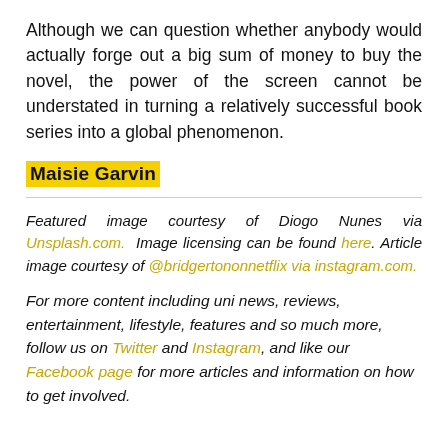Although we can question whether anybody would actually forge out a big sum of money to buy the novel, the power of the screen cannot be understated in turning a relatively successful book series into a global phenomenon.
Maisie Garvin
Featured image courtesy of Diogo Nunes via Unsplash.com. Image licensing can be found here. Article image courtesy of @bridgertononnetflix via instagram.com.
For more content including uni news, reviews, entertainment, lifestyle, features and so much more, follow us on Twitter and Instagram, and like our Facebook page for more articles and information on how to get involved.